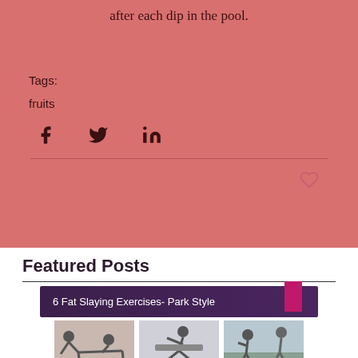after each dip in the pool.
Tags:
fruits
[Figure (other): Social sharing icons: Facebook, Twitter, LinkedIn on salmon background]
[Figure (other): Heart/like icon on salmon background]
Featured Posts
[Figure (other): Featured post card: '6 Fat Slaying Exercises- Park Style' with dark purple banner and three exercise thumbnail images below]